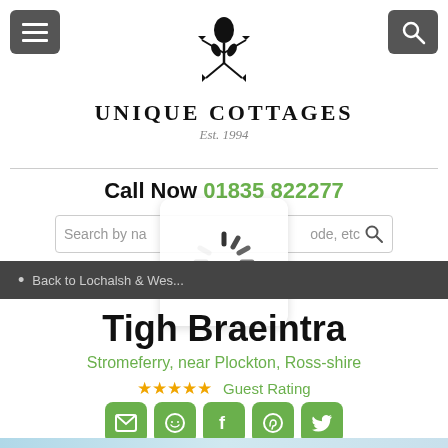[Figure (logo): Unique Cottages logo with thistle emblem and text 'UNIQUE COTTAGES Est. 1994']
Call Now 01835 822277
[Figure (screenshot): Search input field with placeholder 'Search by name, postcode, etc' and a loading spinner overlay]
Back to Lochalsh & Wes...
Tigh Braeintra
Stromeferry, near Plockton, Ross-shire
★★★★★ Guest Rating
[Figure (infographic): Five social sharing icon buttons: email/envelope, WhatsApp, Facebook, Pinterest, Twitter — all with olive/green background rounded squares]
[Figure (photo): Partial landscape photo at bottom of page]